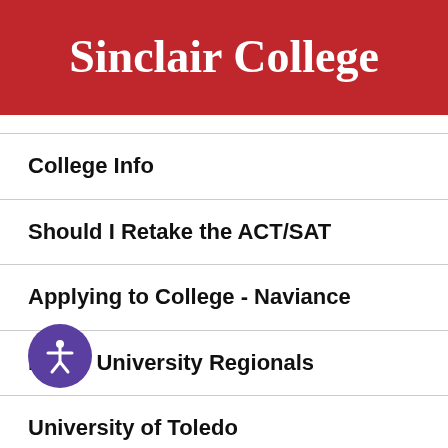Sinclair College
College Info
Should I Retake the ACT/SAT
Applying to College - Naviance
Miami University Regionals
University of Toledo
Cincinnati State Technical and Community College
Cleveland State University